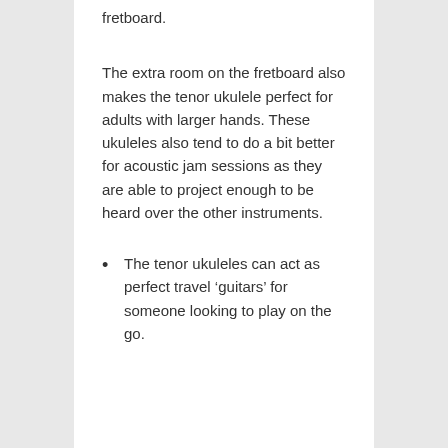fretboard.
The extra room on the fretboard also makes the tenor ukulele perfect for adults with larger hands. These ukuleles also tend to do a bit better for acoustic jam sessions as they are able to project enough to be heard over the other instruments.
The tenor ukuleles can act as perfect travel ‘guitars’ for someone looking to play on the go.